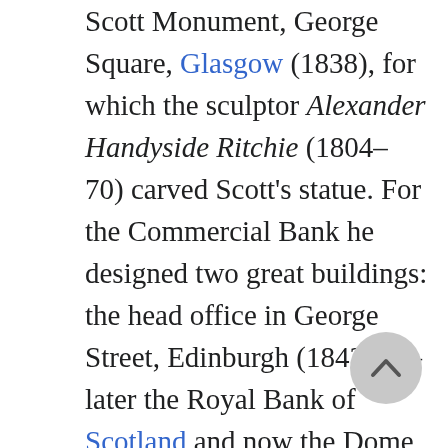Scott Monument, George Square, Glasgow (1838), for which the sculptor Alexander Handyside Ritchie (1804–70) carved Scott's statue. For the Commercial Bank he designed two great buildings: the head office in George Street, Edinburgh (1843–7—later the Royal Bank of Scotland and now the Dome Restaurant—with its noble Roman Corinthian hexastyle portico and palatial interior with decorations by David Ramsay Hay (1798–1866,); and the grandly